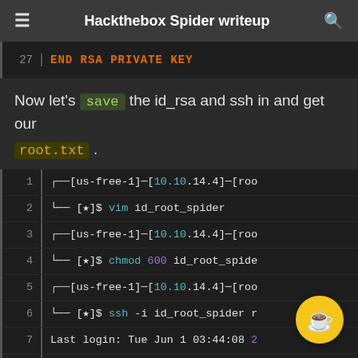Hackthebox Spider writeup
[Figure (screenshot): Code snippet line 27 showing END RSA PRIVATE KEY in red/orange monospace font]
Now let's save the id_rsa and ssh in and get our root.txt .
[Figure (screenshot): Terminal code block lines 1-10 showing: vim id_root_spider, chmod 600 id_root_spider, ssh -i id_root_spider, Last login: Tue Jun 1 03:44:08, root@spider:~# id, uid=0(root) gid=0(root) gro..., root@spider:~# cat root.txt]